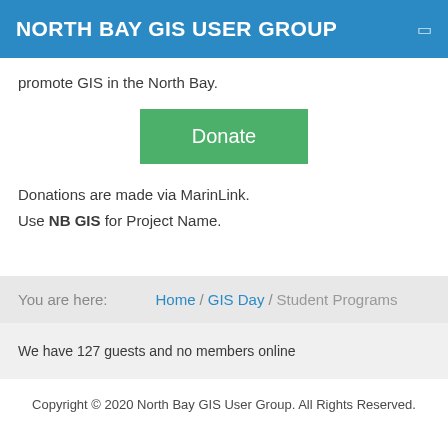NORTH BAY GIS USER GROUP
promote GIS in the North Bay.
[Figure (other): Green Donate button]
Donations are made via MarinLink.
Use NB GIS for Project Name.
You are here:   Home /  GIS Day /  Student Programs
We have 127 guests and no members online
Copyright © 2020 North Bay GIS User Group. All Rights Reserved.